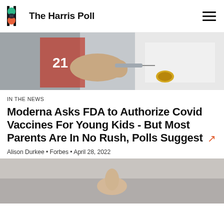The Harris Poll
[Figure (photo): Close-up photo of a medical professional in a white coat administering a vaccine injection to a patient's arm wearing a red jersey with number 21]
IN THE NEWS
Moderna Asks FDA to Authorize Covid Vaccines For Young Kids - But Most Parents Are In No Rush, Polls Suggest
Alison Durkee • Forbes • April 28, 2022
[Figure (photo): Close-up photo of a hand, likely a child's, blurred background, appearing to show a finger or small hand near a surface]